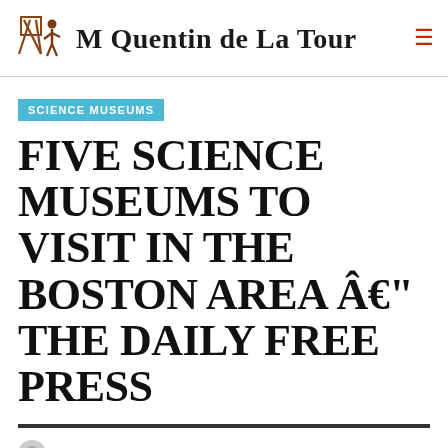M Quentin de La Tour
SCIENCE MUSEUMS
FIVE SCIENCE MUSEUMS TO VISIT IN THE BOSTON AREA Â€" THE DAILY FREE PRESS
SHERWOOD A. VEASEY  JUNE 8, 2022